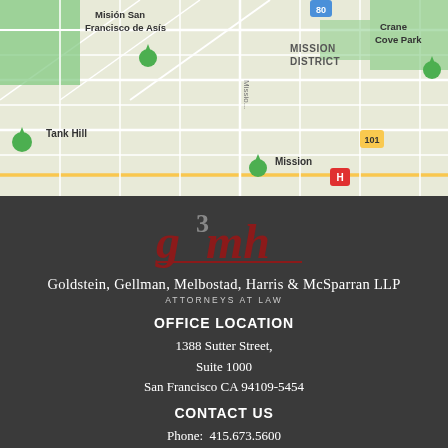[Figure (map): Google Maps screenshot showing San Francisco neighborhood with Mission District, Tank Hill, Mission, Misión San Francisco de Asís, Crane Cove Park labeled, with street grid and green park areas visible.]
[Figure (logo): g3mh law firm logo with stylized '3' superscript above 'g', letters in dark red/crimson with underline, followed by firm name Goldstein, Gellman, Melbostad, Harris & McSparran LLP and tagline ATTORNEYS AT LAW in white on dark background.]
OFFICE LOCATION
1388 Sutter Street,
Suite 1000
San Francisco CA 94109-5454
CONTACT US
Phone:  415.673.5600
Fax:      415.673.5606